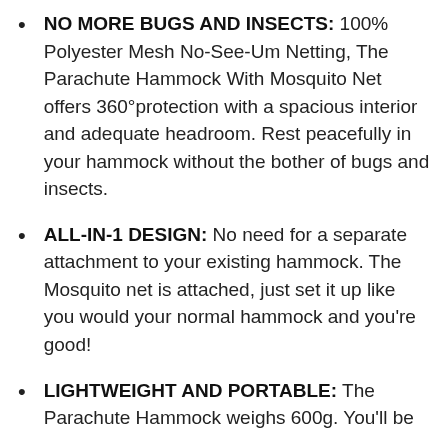NO MORE BUGS AND INSECTS: 100% Polyester Mesh No-See-Um Netting, The Parachute Hammock With Mosquito Net offers 360°protection with a spacious interior and adequate headroom. Rest peacefully in your hammock without the bother of bugs and insects.
ALL-IN-1 DESIGN: No need for a separate attachment to your existing hammock. The Mosquito net is attached, just set it up like you would your normal hammock and you're good!
LIGHTWEIGHT AND PORTABLE: The Parachute Hammock weighs 600g. You'll be...